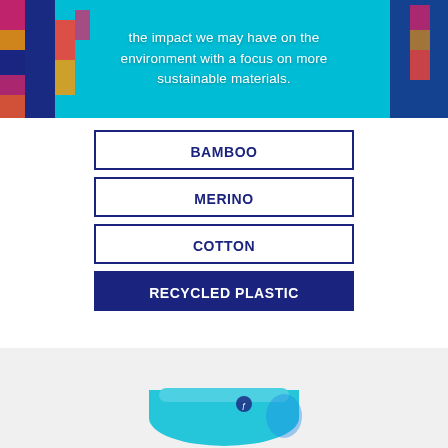[Figure (photo): Close-up photo of colorful knitted fabric (socks/textile) in teal, navy, red, pink colors, with overlaid white text]
the impact we may have on the environment with a focus on more sustainable materials.
BAMBOO
MERINO
COTTON
RECYCLED PLASTIC
[Figure (photo): Photo of a teal/cyan knitted sock at the bottom of the page]